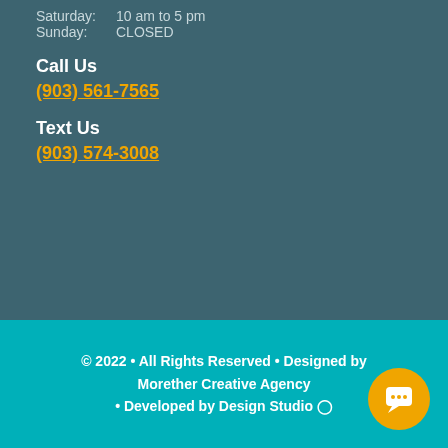Saturday:   10 am to 5 pm
Sunday:       CLOSED
Call Us
(903) 561-7565
Text Us
(903) 574-3008
© 2022 • All Rights Reserved • Designed by Morether Creative Agency • Developed by Design Studio